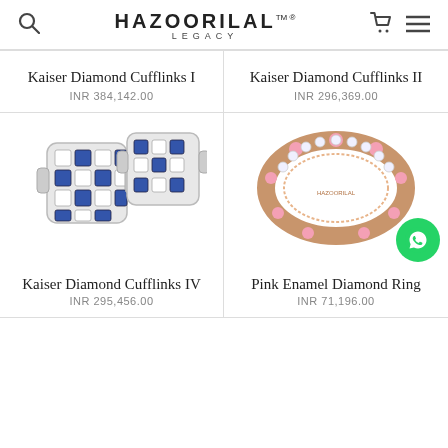HAZOORILAL LEGACY
Kaiser Diamond Cufflinks I
INR 384,142.00
Kaiser Diamond Cufflinks II
INR 296,369.00
[Figure (photo): Two silver diamond and blue sapphire square cufflinks (Kaiser Diamond Cufflinks IV)]
[Figure (photo): Rose gold diamond and pink enamel ring (Pink Enamel Diamond Ring)]
Kaiser Diamond Cufflinks IV
INR 295,456.00
Pink Enamel Diamond Ring
INR 71,196.00